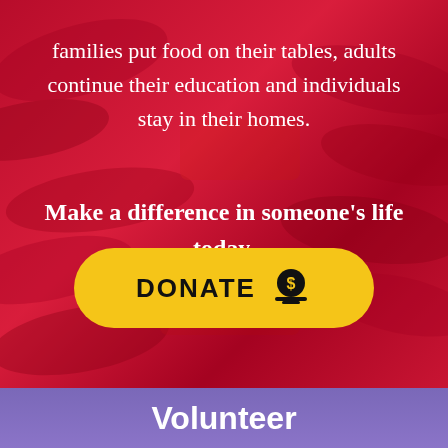families put food on their tables, adults continue their education and individuals stay in their homes.
Make a difference in someone's life today.
[Figure (other): Yellow donate button with dollar sign icon]
Volunteer